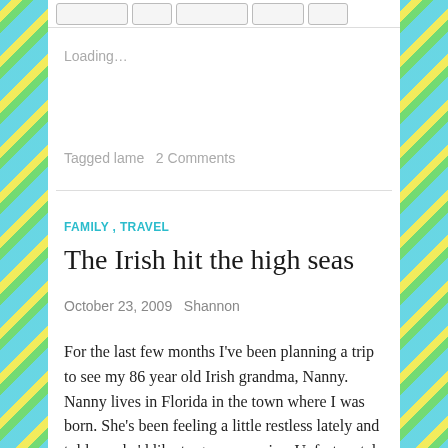[Figure (screenshot): Navigation bar with five button elements at the top of the page]
Loading...
Tagged lame   2 Comments
FAMILY , TRAVEL
The Irish hit the high seas
October 23, 2009   Shannon
For the last few months I've been planning a trip to see my 86 year old Irish grandma, Nanny. Nanny lives in Florida in the town where I was born. She's been feeling a little restless lately and told me she'd like to go on a cruise. Unfortunately